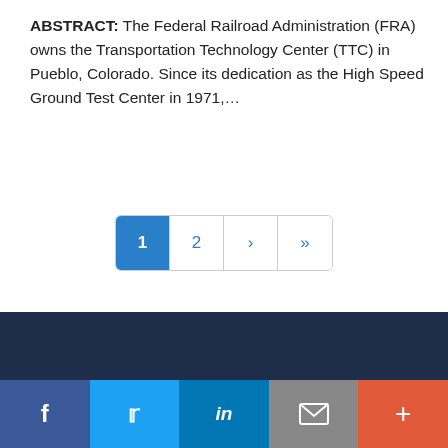ABSTRACT: The Federal Railroad Administration (FRA) owns the Transportation Technology Center (TTC) in Pueblo, Colorado. Since its dedication as the High Speed Ground Test Center in 1971,...
[Figure (other): Pagination control with buttons: 1 (active/highlighted blue), 2, › (next), » (last)]
[Figure (other): Dark navy footer bar]
[Figure (other): Social sharing bar with Facebook (f), Twitter (bird), LinkedIn (in), Email (envelope), and Plus (+) buttons]